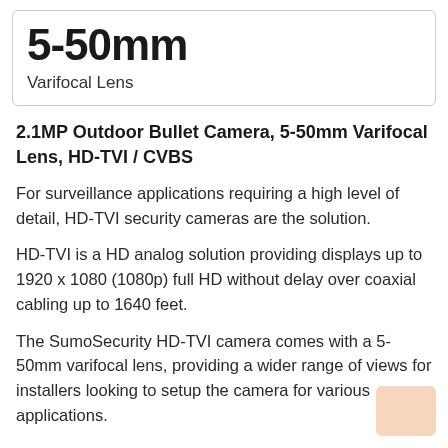5-50mm
Varifocal Lens
2.1MP Outdoor Bullet Camera, 5-50mm Varifocal Lens, HD-TVI / CVBS
For surveillance applications requiring a high level of detail, HD-TVI security cameras are the solution.
HD-TVI is a HD analog solution providing displays up to 1920 x 1080 (1080p) full HD without delay over coaxial cabling up to 1640 feet.
The SumoSecurity HD-TVI camera comes with a 5-50mm varifocal lens, providing a wider range of views for installers looking to setup the camera for various applications.